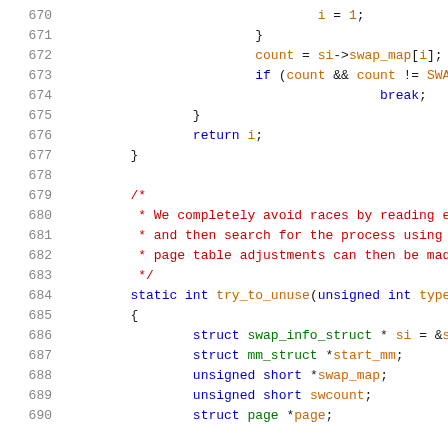Source code listing lines 670-690, C language
670    i = 1;
671    }
672    count = si->swap_map[i];
673    if (count && count != SWAP_MAP_
674        break;
675    }
676    return i;
677    }
678
679    /*
680     * We completely avoid races by reading each sw
681     * and then search for the process using it.  A
682     * page table adjustments can then be made atom
683     */
684    static int try_to_unuse(unsigned int type)
685    {
686        struct swap_info_struct * si = &swap_in
687        struct mm_struct *start_mm;
688        unsigned short *swap_map;
689        unsigned short swcount;
690        struct page *page;